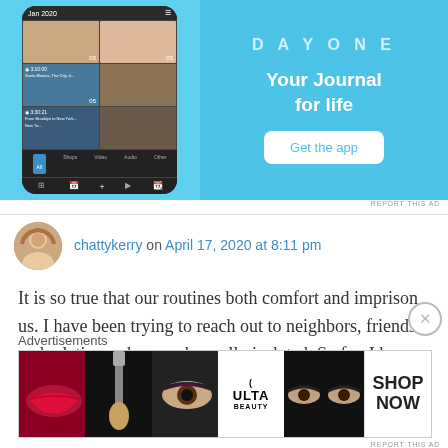[Figure (screenshot): Mobile app advertisement banner with blue background showing a journal app (Dayune or similar) with phone screenshot on left showing photo grid layout with dates, and text 'Your Journal for life' with 'Get the app' button on right.]
REPORT THIS AD
chattykerry on April 17, 2020 at 8:11 pm
It is so true that our routines both comfort and imprison us. I have been trying to reach out to neighbors, friends and relatives who may be really isolated. So far, I have mended at least
Advertisements
[Figure (screenshot): ULTA Beauty advertisement banner showing makeup close-up photos (lips, makeup brush, eye, ULTA logo, eyes) with 'SHOP NOW' text on right.]